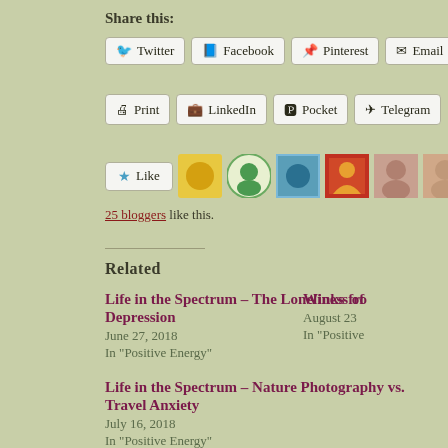Share this:
Twitter | Facebook | Pinterest | Email
Print | LinkedIn | Pocket | Telegram
Like
25 bloggers like this.
Related
Life in the Spectrum – The Loneliness of Depression
June 27, 2018
In "Positive Energy"
Winks fro
August 23
In "Positive
Life in the Spectrum – Nature Photography vs. Travel Anxiety
July 16, 2018
In "Positive Energy"